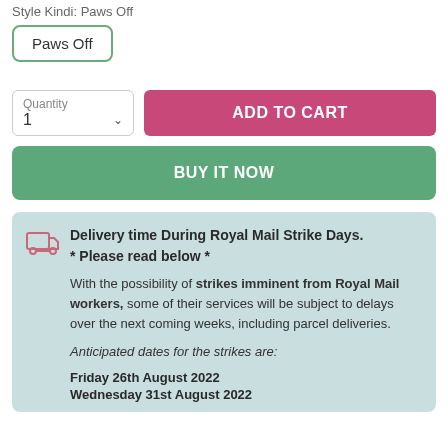Style Kindi: Paws Off
Paws Off
Quantity 1
ADD TO CART
BUY IT NOW
Delivery time During Royal Mail Strike Days.
* Please read below *

With the possibility of strikes imminent from Royal Mail workers, some of their services will be subject to delays over the next coming weeks, including parcel deliveries.

Anticipated dates for the strikes are:

Friday 26th August 2022
Wednesday 31st August 2022